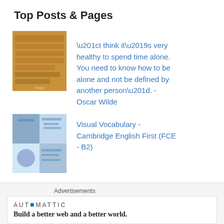Top Posts & Pages
“I think it’s very healthy to spend time alone. You need to know how to be alone and not be defined by another person”. - Oscar Wilde
Visual Vocabulary - Cambridge English First (FCE - B2)
How to use the article THE - Grammar
"A good husband makes a good wife" - English
Advertisements
[Figure (logo): Automattic logo with tagline: Build a better web and a better world.]